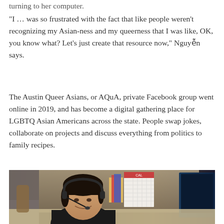turning to her computer.
"I ... was so frustrated with the fact that like people weren't recognizing my Asian-ness and my queerness that I was like, OK, you know what? Let's just create that resource now," Nguyễn says.
The Austin Queer Asians, or AQuA, private Facebook group went online in 2019, and has become a digital gathering place for LGBTQ Asian Americans across the state. People swap jokes, collaborate on projects and discuss everything from politics to family recipes.
[Figure (photo): A person wearing headphones with a microphone, smiling, seated at a desk with a calendar and computer monitor in the background, in a dimly lit room.]